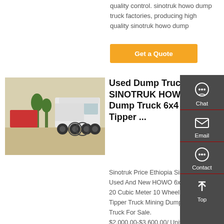quality control. sinotruk howo dump truck factories, producing high quality sinotruk howo dump
Get a Quote
[Figure (photo): White SINOTRUK HOWO dump truck / tractor parked outdoors with red trucks in background]
Used Dump Truck SINOTRUK HOWO Dump Truck 6x4 Tipper ...
Sinotruk Price Ethiopia Sino Used And New HOWO 6x4 16 20 Cubic Meter 10 Wheel Tipper Truck Mining Dump Truck For Sale. $2,000.00-$3,600.00/ Unit. 1 Unit (Min. Order) CN ...